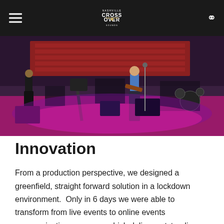CROSSOVER
[Figure (photo): Band performing on stage with musicians playing guitar and other instruments, pink/purple stage lighting, concert hall with red seats visible in background, cameras and equipment on stage.]
Innovation
From a production perspective, we designed a greenfield, straight forward solution in a lockdown environment.  Only in 6 days we were able to transform from live events to online events communication company, which deliver outstanding and customized content for both internal and external audience. With a limited budget and limited time for